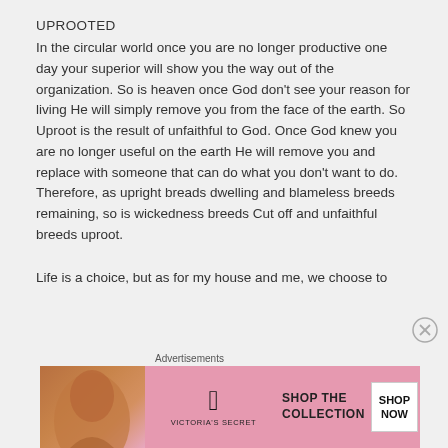UPROOTED
In the circular world once you are no longer productive one day your superior will show you the way out of the organization. So is heaven once God don't see your reason for living He will simply remove you from the face of the earth. So Uproot is the result of unfaithful to God. Once God knew you are no longer useful on the earth He will remove you and replace with someone that can do what you don't want to do.
Therefore, as upright breads dwelling and blameless breeds remaining, so is wickedness breeds Cut off and unfaithful breeds uproot.
Life is a choice, but as for my house and me, we choose to
[Figure (other): Victoria's Secret advertisement banner with a woman's face on the left, Victoria's Secret logo in the center, and a pink background with 'SHOP THE COLLECTION' text and a 'SHOP NOW' white button on the right. Labeled 'Advertisements' above.]